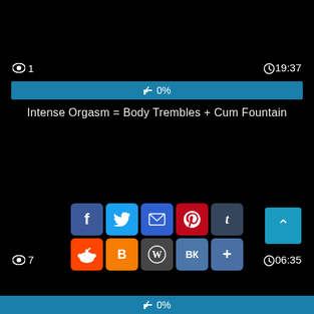[Figure (screenshot): Video player interface screenshot on black background showing view count of 1, duration 19:37, a blue progress/like bar showing 0%, video title 'Intense Orgasm = Body Trembles + Cum Fountain', social share buttons (Facebook, Twitter, Email, Pinterest, Tumblr, Reddit, Blogger, WordPress, VK, More), scroll-to-top button, bottom showing view count 7, duration 06:35, and bottom blue progress bar at 0%]